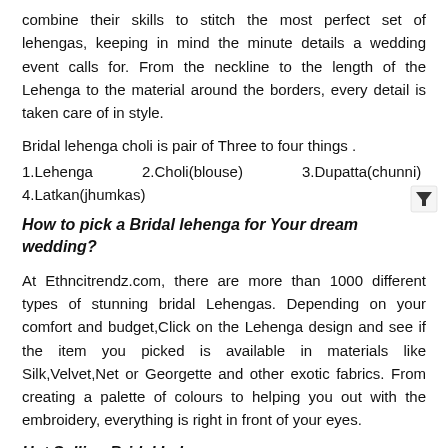combine their skills to stitch the most perfect set of lehengas, keeping in mind the minute details a wedding event calls for. From the neckline to the length of the Lehenga to the material around the borders, every detail is taken care of in style.
Bridal lehenga choli is pair of Three to four things .
1.Lehenga   2.Choli(blouse)   3.Dupatta(chunni)
4.Latkan(jhumkas)
How to pick a Bridal lehenga for Your dream wedding?
At Ethncitrendz.com, there are more than 1000 different types of stunning bridal Lehengas. Depending on your comfort and budget,Click on the Lehenga design and see if the item you picked is available in materials like Silk,Velvet,Net or Georgette and other exotic fabrics. From creating a palette of colours to helping you out with the embroidery, everything is right in front of your eyes.
Hot Selling Bridal Lehenga: